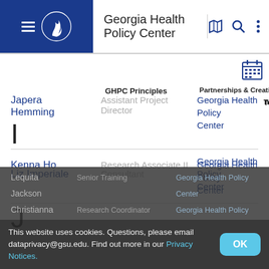Georgia Health Policy Center
GHPC Principles | Partnerships & Creative Collaboration | Tools & Frameworks
I
| Name | Title | Organization |
| --- | --- | --- |
| Japera Hemming | Assistant Project Director | Georgia Health Policy Center |
| Kenna Ho | Research Associate II | Georgia Health Policy Center |
J
| Name | Title | Organization |
| --- | --- | --- |
| Liz Imperiale | Consultant | Georgia Health Policy Center |
Lequita Jackson Christianna | Senior Training | Research Coordinator | Georgia Health Policy Center
This website uses cookies. Questions, please email dataprivacy@gsu.edu. Find out more in our Privacy Notices.